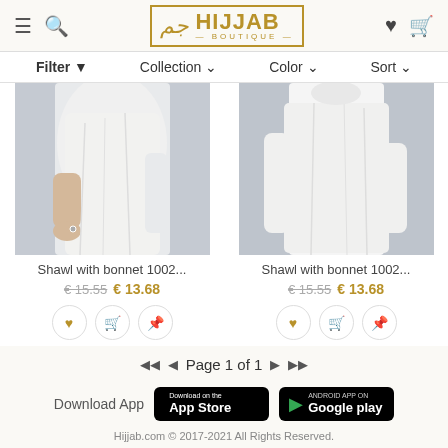[Figure (screenshot): Hijjab Boutique website header with hamburger menu, search icon, logo, heart and bag icons]
Filter ▼   Collection ∨   Color ∨   Sort ∨
[Figure (photo): Product photo: person wearing white shawl and bonnet, left product]
Shawl with bonnet 1002...
€ 15.55  € 13.68
[Figure (photo): Product photo: person wearing white shawl and bonnet, right product]
Shawl with bonnet 1002...
€ 15.55  € 13.68
Page 1 of 1
Download App
[Figure (logo): Download on the App Store button]
[Figure (logo): Android App on Google Play button]
Hijjab.com © 2017-2021 All Rights Reserved.